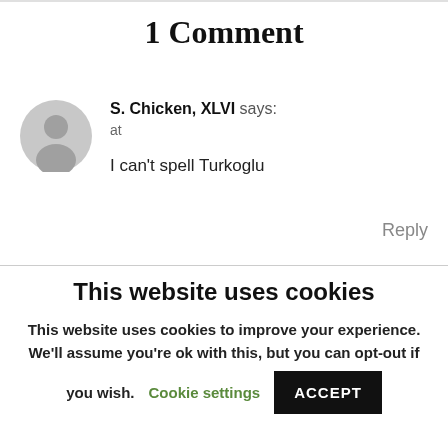1 Comment
S. Chicken, XLVI says:
at

I can't spell Turkoglu
Reply
This website uses cookies
This website uses cookies to improve your experience. We'll assume you're ok with this, but you can opt-out if you wish.
Cookie settings   ACCEPT